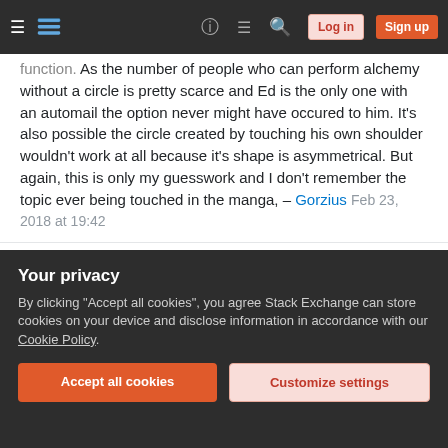Stack Exchange navigation bar with hamburger menu, logo, help, chat, search icons, Log in and Sign up buttons
function. As the number of people who can perform alchemy without a circle is pretty scarce and Ed is the only one with an automail the option never might have occured to him. It's also possible the circle created by touching his own shoulder wouldn't work at all because it's shape is asymmetrical. But again, this is only my guesswork and I don't remember the topic ever being touched in the manga, – Gorzius Feb 23, 2018 at 19:42
@Gorzius Well, but based on the other answer, all that is really needed is the circular seals created by pressing flesh (or, in Al's case, fabric) against something, and doing that with hands is enough. So
Your privacy
By clicking "Accept all cookies", you agree Stack Exchange can store cookies on your device and disclose information in accordance with our Cookie Policy.
Accept all cookies
Customize settings